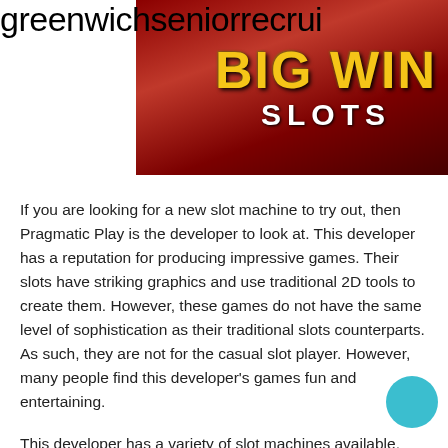greenwichseniorrecrui
[Figure (illustration): Big Win Slots banner image with red/dark background, gold 'BIG WIN' text and white 'SLOTS' text]
If you are looking for a new slot machine to try out, then Pragmatic Play is the developer to look at. This developer has a reputation for producing impressive games. Their slots have striking graphics and use traditional 2D tools to create them. However, these games do not have the same level of sophistication as their traditional slots counterparts. As such, they are not for the casual slot player. However, many people find this developer's games fun and entertaining.
This developer has a variety of slot machines available, including progressive jackpot games and hujan jackpots. Many players enjoy their slots' fast play, hujan jackpots, and oriental themes. It is not